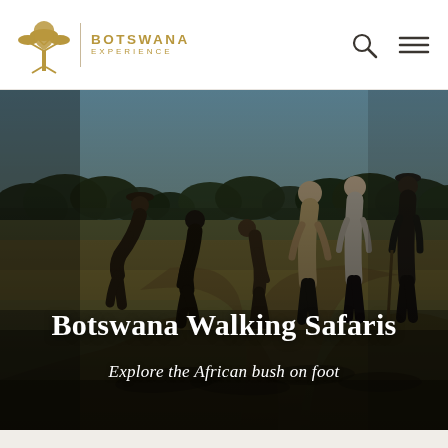[Figure (logo): Botswana Experience logo: golden acacia tree silhouette with vertical divider and text 'BOTSWANA EXPERIENCE']
[Figure (screenshot): Navigation bar icons: search magnifying glass and hamburger menu lines]
[Figure (photo): Dark, moody photograph of a group of people on a walking safari in African bush. Several silhouetted figures stand on a dirt track surrounded by golden grass and trees. Two guides and tourists examine something on the ground.]
Botswana Walking Safaris
Explore the African bush on foot